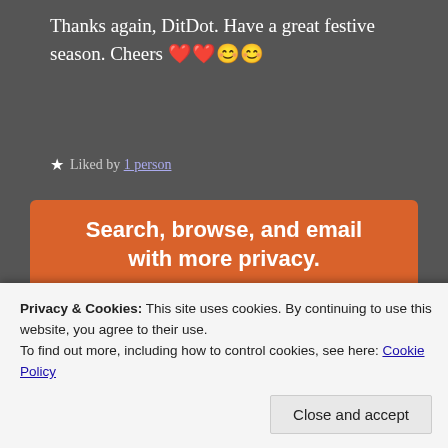Thanks again, DitDot. Have a great festive season. Cheers ❤️❤️😊😊
★ Liked by 1 person
[Figure (screenshot): DuckDuckGo advertisement banner on orange background showing 'Search, browse, and email with more privacy. All in One Free App' with a phone mockup showing DuckDuckGo logo]
Privacy & Cookies: This site uses cookies. By continuing to use this website, you agree to their use.
To find out more, including how to control cookies, see here: Cookie Policy
Close and accept